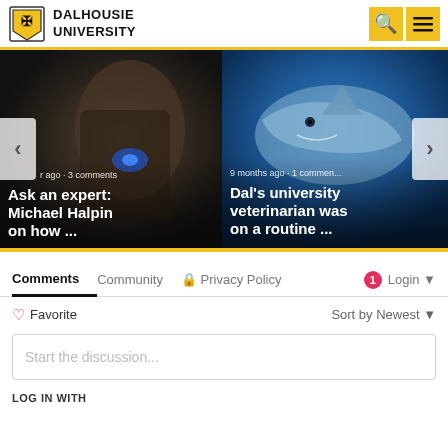[Figure (logo): Dalhousie University logo with shield and text]
[Figure (screenshot): Carousel showing two article cards: 'Ask an expert: Michael Halpin on how ...' with dark hand holding remote image, and 'Dal's university veterinarian was on a routine ...' with shark underwater image. Left and right navigation arrows visible.]
Comments   Community   Privacy Policy   1   Login
Favorite   Sort by Newest
Start the discussion...
LOG IN WITH